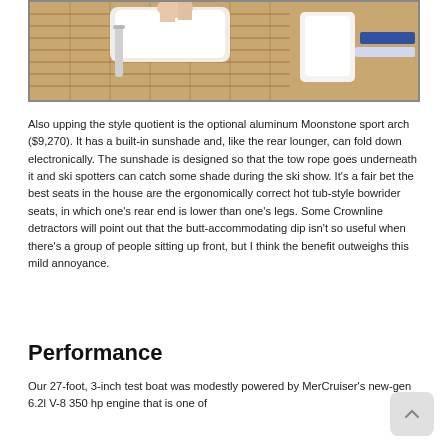[Figure (photo): Close-up photo of a boat interior showing teak deck, white cushioned seating, chrome rails, and a person's legs visible in the background.]
Also upping the style quotient is the optional aluminum Moonstone sport arch ($9,270). It has a built-in sunshade and, like the rear lounger, can fold down electronically. The sunshade is designed so that the tow rope goes underneath it and ski spotters can catch some shade during the ski show. It's a fair bet the best seats in the house are the ergonomically correct hot tub-style bowrider seats, in which one's rear end is lower than one's legs. Some Crownline detractors will point out that the butt-accommodating dip isn't so useful when there's a group of people sitting up front, but I think the benefit outweighs this mild annoyance.
Performance
Our 27-foot, 3-inch test boat was modestly powered by MerCruiser's new-gen 6.2l V-8 350 hp engine that is one of